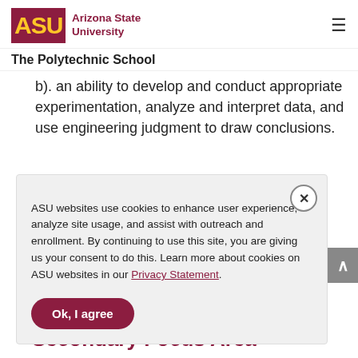ASU Arizona State University
The Polytechnic School
b). an ability to develop and conduct appropriate experimentation, analyze and interpret data, and use engineering judgment to draw conclusions.
ASU websites use cookies to enhance user experience, analyze site usage, and assist with outreach and enrollment. By continuing to use this site, you are giving us your consent to do this. Learn more about cookies on ASU websites in our Privacy Statement. Ok, I agree
Secondary Focus Area